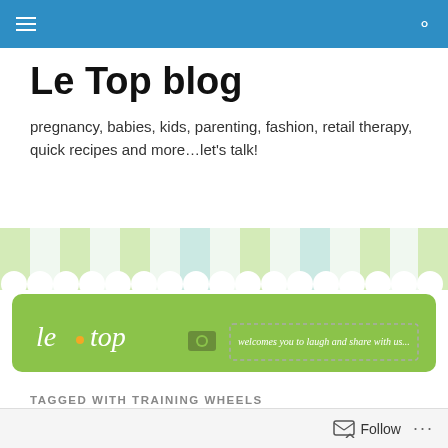Le Top blog navigation bar
Le Top blog
pregnancy, babies, kids, parenting, fashion, retail therapy, quick recipes and more…let's talk!
[Figure (illustration): Le Top blog banner with pastel awning stripes in green, blue and white at top, and green rounded rectangle below with cursive 'le top' logo in white, an orange dot, an icon, and a dotted-border box reading 'welcomes you to laugh and share with us...']
TAGGED WITH TRAINING WHEELS
Bike Safety and Summer
Follow